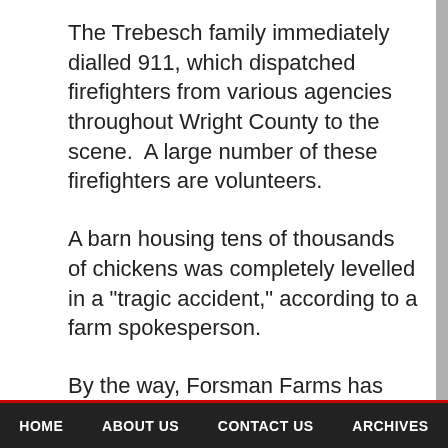The Trebesch family immediately dialled 911, which dispatched firefighters from various agencies throughout Wright County to the scene.  A large number of these firefighters are volunteers.
A barn housing tens of thousands of chickens was completely levelled in a "tragic accident," according to a farm spokesperson.
By the way, Forsman Farms has been in business since 1918.
It is a massive fourth-generation enterprise that sells over three million eggs per day to some of
HOME   ABOUT US   CONTACT US   ARCHIVES